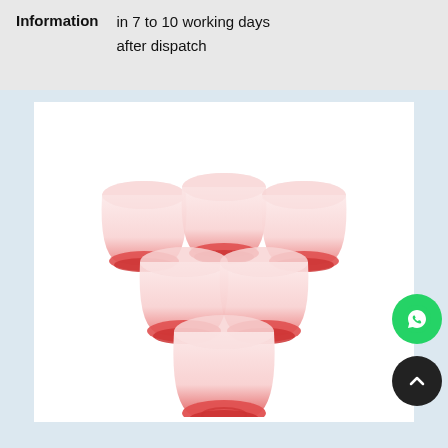| Information |  |
| --- | --- |
| Information | in 7 to 10 working days after dispatch |
[Figure (photo): Six frosted pink/white drinking glasses with red bases arranged in a triangular formation on a white background]